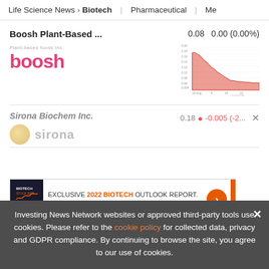Life Science News > Biotech | Pharmaceutical | Me
Boosh Plant-Based ...
0.08  0.00 (0.00%)
[Figure (continuous-plot): Mini stock price chart for Boosh Plant-Based showing declining price trend, filled area chart in orange/red color, time axis from Aug to end of period]
Sirona Biochem Inc.
0.18  -0.005 (-2...
[Figure (other): Banner advertisement: EXCLUSIVE 2022 BIOTECH OUTLOOK REPORT. TRENDS. FORECASTS. TOP STOCKS. with orange arrow button and orange vertical bar on the right]
Investing News Network websites or approved third-party tools use cookies. Please refer to the cookie policy for collected data, privacy and GDPR compliance. By continuing to browse the site, you agree to our use of cookies.